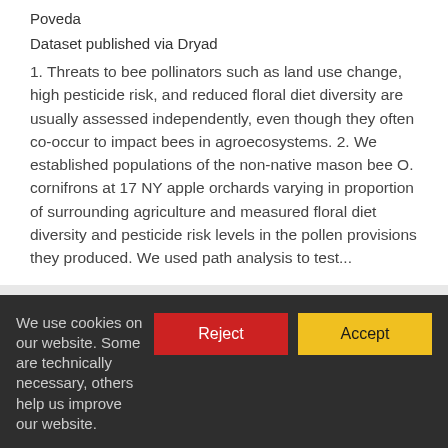Poveda
Dataset published via Dryad
1. Threats to bee pollinators such as land use change, high pesticide risk, and reduced floral diet diversity are usually assessed independently, even though they often co-occur to impact bees in agroecosystems. 2. We established populations of the non-native mason bee O. cornifrons at 17 NY apple orchards varying in proportion of surrounding agriculture and measured floral diet diversity and pesticide risk levels in the pollen provisions they produced. We used path analysis to test...
About DataCite
What we do
Governance
Members
Steering groups
We use cookies on our website. Some are technically necessary, others help us improve our website.